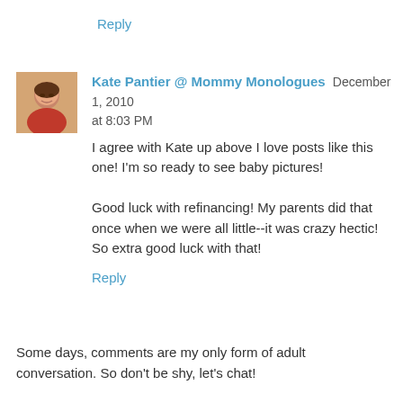Reply
[Figure (photo): Avatar photo of Kate Pantier, a woman with dark hair wearing a red top]
Kate Pantier @ Mommy Monologues December 1, 2010 at 8:03 PM
I agree with Kate up above I love posts like this one! I'm so ready to see baby pictures!

Good luck with refinancing! My parents did that once when we were all little--it was crazy hectic! So extra good luck with that!
Reply
Some days, comments are my only form of adult conversation. So don't be shy, let's chat!